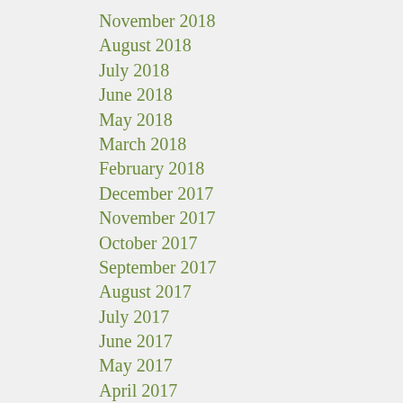November 2018
August 2018
July 2018
June 2018
May 2018
March 2018
February 2018
December 2017
November 2017
October 2017
September 2017
August 2017
July 2017
June 2017
May 2017
April 2017
March 2017
February 2017
January 2017
December 2016